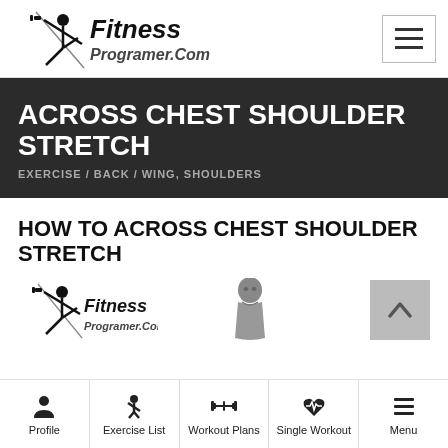FitnessProgramer.Com
ACROSS CHEST SHOULDER STRETCH
EXERCISE / BACK / WING, SHOULDERS
HOW TO ACROSS CHEST SHOULDER STRETCH
[Figure (logo): FitnessProgramer.Com logo small, with person performing stretch exercise]
Profile | Exercise List | Workout Plans | Single Workout | Menu